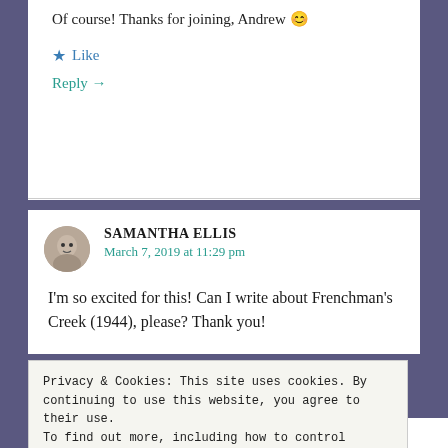Of course! Thanks for joining, Andrew 😊
★ Like
Reply →
SAMANTHA ELLIS
March 7, 2019 at 11:29 pm
I'm so excited for this! Can I write about Frenchman's Creek (1944), please? Thank you!
Privacy & Cookies: This site uses cookies. By continuing to use this website, you agree to their use.
To find out more, including how to control cookies, see here: Cookie Policy
Close and accept
PALEWRITERS